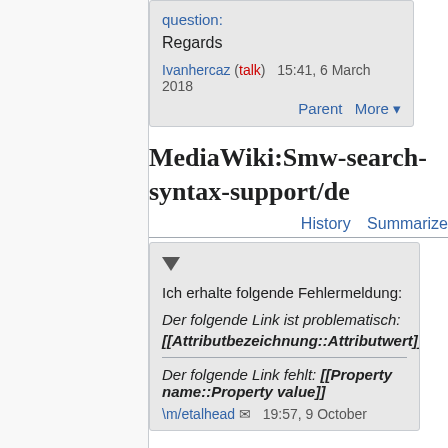question:
Regards
Ivanhercaz (talk) 15:41, 6 March 2018
Parent More
MediaWiki:Smw-search-syntax-support/de
History Summarize
▼
Ich erhalte folgende Fehlermeldung:
Der folgende Link ist problematisch: [[Attributbezeichnung::Attributwert]]
Der folgende Link fehlt: [[Property name::Property value]]
\m/etalhead 19:57, 9 October